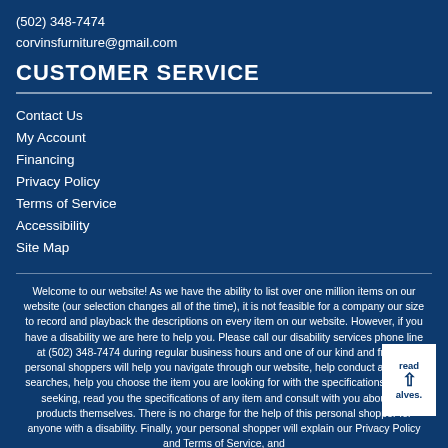(502) 348-7474
corvinsfurniture@gmail.com
CUSTOMER SERVICE
Contact Us
My Account
Financing
Privacy Policy
Terms of Service
Accessibility
Site Map
Welcome to our website! As we have the ability to list over one million items on our website (our selection changes all of the time), it is not feasible for a company our size to record and playback the descriptions on every item on our website. However, if you have a disability we are here to help you. Please call our disability services phone line at (502) 348-7474 during regular business hours and one of our kind and friendly personal shoppers will help you navigate through our website, help conduct advanced searches, help you choose the item you are looking for with the specifications you are seeking, read you the specifications of any item and consult with you about the products themselves. There is no charge for the help of this personal shopper for anyone with a disability. Finally, your personal shopper will explain our Privacy Policy and Terms of Service, and